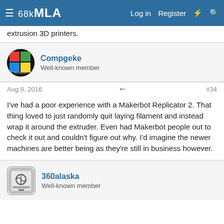68kMLA — Log in  Register
extrusion 3D printers.
Compgeke
Well-known member
Aug 8, 2016  #34
I've had a poor experience with a Makerbot Replicator 2. That thing loved to just randomly quit laying filament and instead wrap it around the extruder. Even had Makerbot people out to check it out and couldn't figure out why. I'd imagine the newer machines are better being as they're still in business however.
360alaska
Well-known member